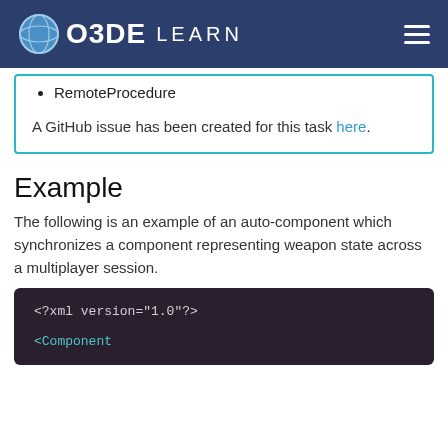O3DE LEARN
RemoteProcedure
A GitHub issue has been created for this task here.
Example
The following is an example of an auto-component which synchronizes a component representing weapon state across a multiplayer session.
<?xml version="1.0"?>

<Component